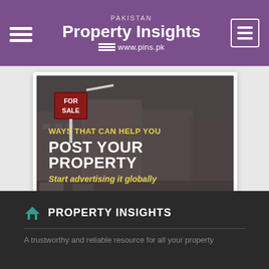PAKISTAN Property Insights www.pins.pk
[Figure (photo): Promotional banner showing a 'For Sale' sign in front of a building complex, with text overlay: 'WAYS THAT CAN HELP YOU / POST YOUR PROPERTY / Start advertising it globally']
PROPERTY INSIGHTS
A trustworthy and reliable resource for all your property